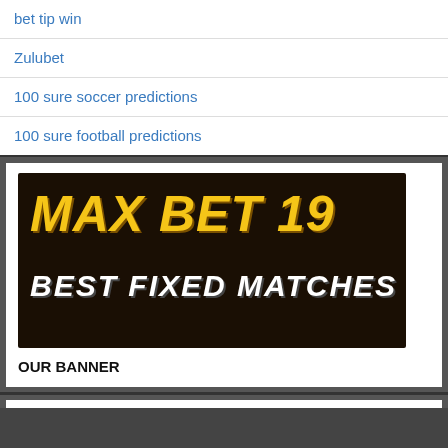bet tip win
Zulubet
100 sure soccer predictions
100 sure football predictions
[Figure (illustration): MAX BET 19 - BEST FIXED MATCHES banner with yellow italic text on dark brown/black background]
OUR BANNER
[Figure (logo): Histats.com button with bar chart icon on blue background]
My Blog © 2018   Frontier Theme